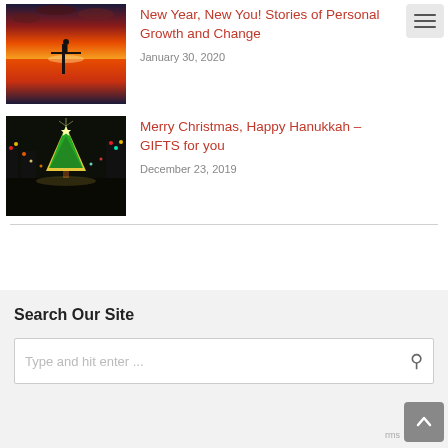[Figure (photo): Sunset over water with silhouette of a person standing on a dock, vivid orange and red sky reflected in the water]
New Year, New You! Stories of Personal Growth and Change
January 30, 2020
[Figure (photo): Christmas lights scene at night with a large lit Christmas tree and colorful lights illuminating surrounding trees]
Merry Christmas, Happy Hanukkah – GIFTS for you
December 23, 2019
Search Our Site
Type and hit enter ...